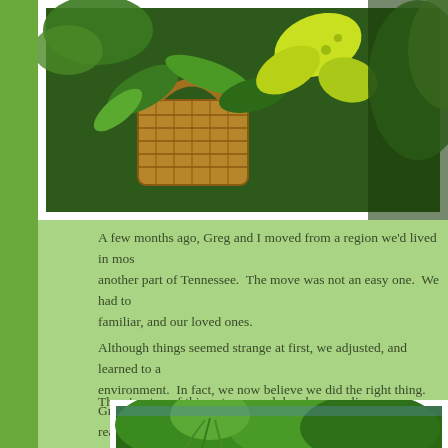[Figure (photo): Photo of a wicker basket with green ferns and a yellow-green butterfly decoration on a green background]
A few months ago, Greg and I moved from a region we'd lived in mos another part of Tennessee.  The move was not an easy one.  We had to familiar, and our loved ones.
Although things seemed strange at first, we adjusted, and learned to a environment.  In fact, we now believe we did the right thing.  Greg's c really good one, and new opportunities have opened up for my art, wri organizing business.
There's a ton of things to see and do where we live now.
[Figure (photo): Photo of lush green trees including a weeping willow in a park or garden setting]